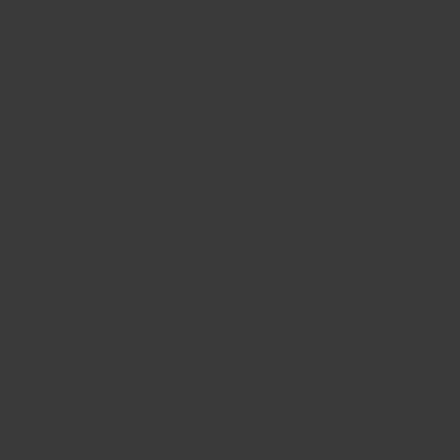[Figure (screenshot): Partial view of a Windows-style dialog box with a white canvas area, a ruler strip, and a Close button, positioned at top-right of page.]
Astrophotography, camera, ccd, color, conversion, icx249ak, icx249al, mono, mx716, mx7c, sony, starlight, starlightxpress
Recent Posts
Archives
Atari 400 repair and composite video mod
The TurtleCam returns…
Adapting a Yashica GSN 45mm f/1.7 lens for the Sony E Mount
February 2021
June 2016
April 2014